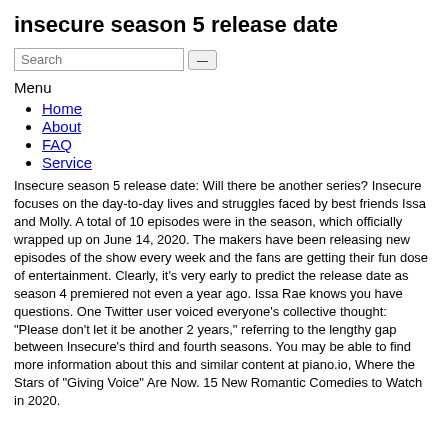insecure season 5 release date
[Figure (other): Search input field with submit button]
Menu
Home
About
FAQ
Service
Insecure season 5 release date: Will there be another series? Insecure focuses on the day-to-day lives and struggles faced by best friends Issa and Molly. A total of 10 episodes were in the season, which officially wrapped up on June 14, 2020. The makers have been releasing new episodes of the show every week and the fans are getting their fun dose of entertainment. Clearly, it's very early to predict the release date as season 4 premiered not even a year ago. Issa Rae knows you have questions. One Twitter user voiced everyone's collective thought: "Please don't let it be another 2 years," referring to the lengthy gap between Insecure's third and fourth seasons. You may be able to find more information about this and similar content at piano.io, Where the Stars of "Giving Voice" Are Now. 15 New Romantic Comedies to Watch in 2020.